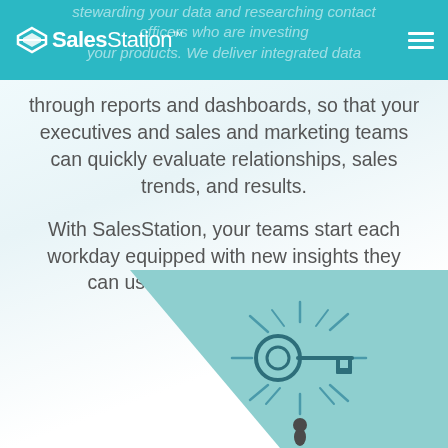SalesStation™
stewarding your data and researching contact officers who are investing your products. We deliver integrated data through reports and dashboards, so that your executives and sales and marketing teams can quickly evaluate relationships, sales trends, and results.
With SalesStation, your teams start each workday equipped with new insights they can use to take effective action.
[Figure (illustration): A lightbulb illustration replaced by a key symbol on a teal angular background, with radiating lines suggesting illumination. A small figure stands below the key.]